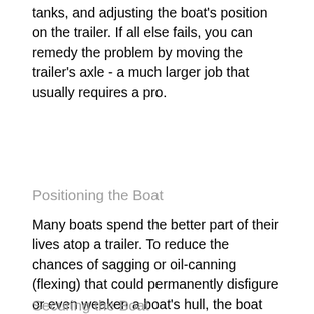tanks, and adjusting the boat's position on the trailer. If all else fails, you can remedy the problem by moving the trailer's axle - a much larger job that usually requires a pro.
Positioning the Boat
Many boats spend the better part of their lives atop a trailer. To reduce the chances of sagging or oil-canning (flexing) that could permanently disfigure or even weaken a boat's hull, the boat should always be level and supported evenly, with rollers or padded bunks concentrated in critical areas such as the engine and chine. On boats with outboard or I/O's, transoms must be well supported. Poly rollers, incidentally, last considerably longer than their rubber counterparts, which deteriorate in sunlight.
Securing the Boat